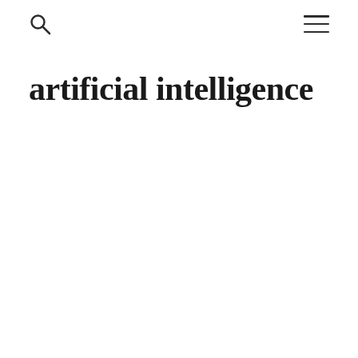[search icon] [menu icon]
artificial intelligence